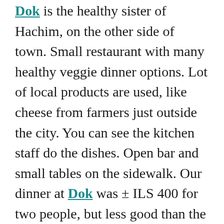Dok is the healthy sister of Hachim, on the other side of town. Small restaurant with many healthy veggie dinner options. Lot of local products are used, like cheese from farmers just outside the city. You can see the kitchen staff do the dishes. Open bar and small tables on the sidewalk. Our dinner at Dok was ± ILS 400 for two people, but less good than the earlier mentioned Santa Katarina.
Heading more south, Saluf & Sons is a small trendy restaurant near Levinsky Market in Florentine that serves Israeli Yemeni food. It was fully packed when we arrived for lunch. Simple food, young audience, indoor seating. Come in early or make reservations for lunch or dinner.
Riding around with our e-bikes through the gorgeous